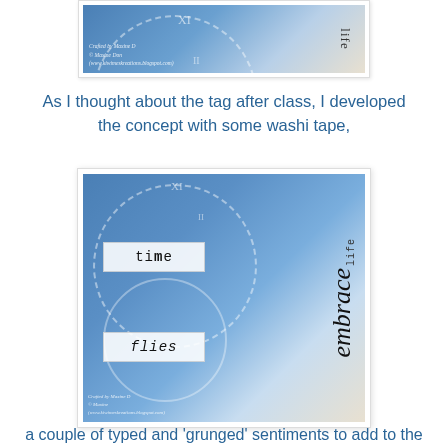[Figure (photo): Close-up photo of a blue and white stamped/inked art tag with clock imagery and the word 'life' visible. Watermark text reads: Crafted by Maxine D, © Maxine Don, www.kiwimeskreations.blogspot.com]
As I thought about the tag after class, I developed the concept with some washi tape,
[Figure (photo): Photo of a blue and white mixed media art tag featuring clock imagery, two washi tape strips with the words 'time' and 'flies', and handwritten/stamped text 'embrace life' on the right side. Watermark: Crafted by Maxine D, © Maxine, www.kiwimeskreations.blogspot.com]
a couple of typed and 'grunged' sentiments to add to the